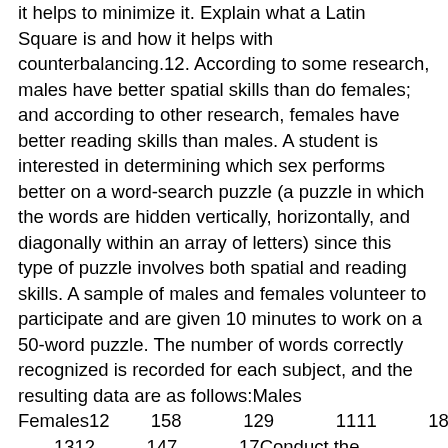it helps to minimize it. Explain what a Latin Square is and how it helps with counterbalancing.12. According to some research, males have better spatial skills than do females; and according to other research, females have better reading skills than males. A student is interested in determining which sex performs better on a word-search puzzle (a puzzle in which the words are hidden vertically, horizontally, and diagonally within an array of letters) since this type of puzzle involves both spatial and reading skills. A sample of males and females volunteer to participate and are given 10 minutes to work on a 50-word puzzle. The number of words correctly recognized is recorded for each subject, and the resulting data are as follows:Males Females12    15 8    12 9    11 11    18 10    13 12    14 7    17Conduct the appropriate analysis of these data and determine whether there are any significant differences.13. A college student is interested whether there is a difference between male and female students in the amount of time spending working out each week. The student gathers information from a sample